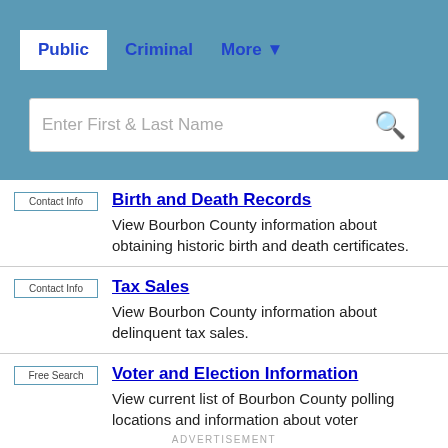Public | Criminal | More
Enter First & Last Name
Birth and Death Records
View Bourbon County information about obtaining historic birth and death certificates.
Tax Sales
View Bourbon County information about delinquent tax sales.
Voter and Election Information
View current list of Bourbon County polling locations and information about voter registration and early voting.
ADVERTISEMENT